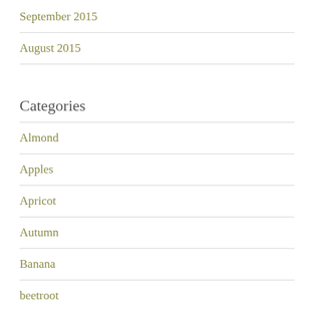September 2015
August 2015
Categories
Almond
Apples
Apricot
Autumn
Banana
beetroot